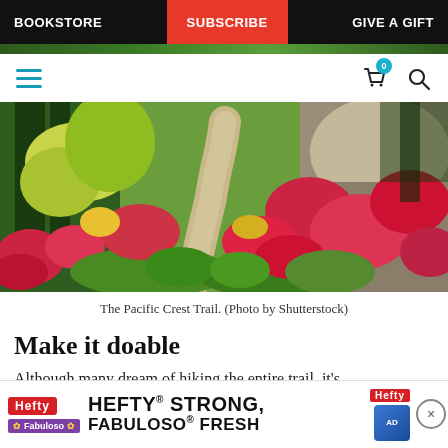BOOKSTORE | SUBSCRIBE | GIVE A GIFT
[Figure (screenshot): Website navigation bar with hamburger menu icon, shopping cart with badge showing 0, and search icon]
[Figure (photo): The Pacific Crest Trail winding through alpine meadow with red and yellow wildflowers, green trees, and rocky outcrops]
The Pacific Crest Trail. (Photo by Shutterstock)
Make it doable
Although many dream of hiking the entire trail, it's impractical ... e and
[Figure (screenshot): Hefty and Fabuloso advertisement banner: HEFTY STRONG, FABULOSO FRESH]